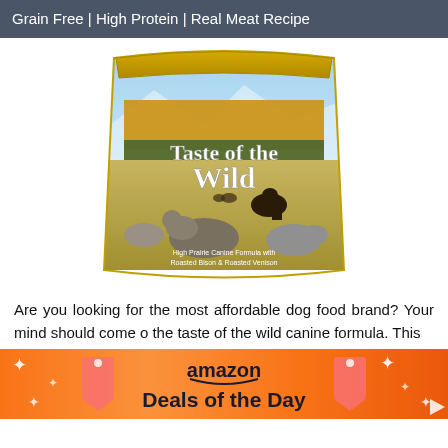Grain Free | High Protein | Real Meat Recipe
[Figure (photo): Taste of the Wild dog food bag - High Prairie Canine Formula with roasted bison and roasted venison. The bag features wolves and bison in a prairie landscape with autumn trees.]
Are you looking for the most affordable dog food brand? Your mind should come o the taste of the wild canine formula. This
[Figure (infographic): Amazon Deals of the Day banner in orange with decorative gift tags, sparkles, and arrow. Text reads 'amazon' and 'Deals of the Day'.]